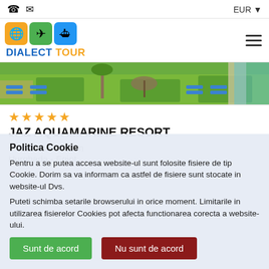☎ ✉  EUR ▼
[Figure (logo): Dialect Tour logo with orange globe, green airplane, blue cruise ship icons and 'DIALECT TOUR' text]
[Figure (photo): Aerial/overhead view of resort pool area with sun loungers, umbrellas, and green lawn]
★★★★★
JAZ AQUAMARINE RESORT
✈ Transport: Avion
Hurghada - Egipt
📅 02.01.2022 - 09.01.2022
Politica Cookie
Pentru a se putea accesa website-ul sunt folosite fisiere de tip Cookie. Dorim sa va informam ca astfel de fisiere sunt stocate in website-ul Dvs.
Puteti schimba setarile browserului in orice moment. Limitarile in utilizarea fisierelor Cookies pot afecta functionarea corecta a website-ului.
Sunt de acord    Nu sunt de acord